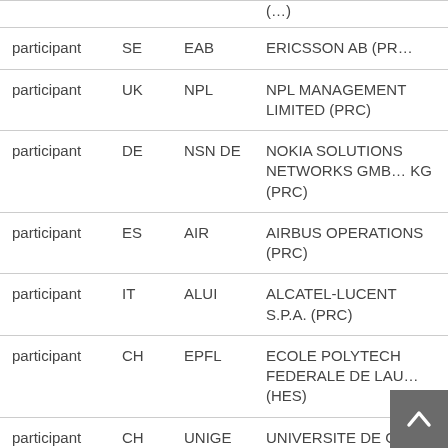|  |  |  |  |
| --- | --- | --- | --- |
| participant | SE | EAB | ERICSSON AB (PR… |
| participant | UK | NPL | NPL MANAGEMENT LIMITED (PRC) |
| participant | DE | NSN DE | NOKIA SOLUTIONS NETWORKS GMBH KG (PRC) |
| participant | ES | AIR | AIRBUS OPERATIONS (PRC) |
| participant | IT | ALUI | ALCATEL-LUCENT S.P.A. (PRC) |
| participant | CH | EPFL | ECOLE POLYTECHNIQUE FEDERALE DE LAUSANNE (HES) |
| participant | CH | UNIGE | UNIVERSITE DE G… (HES) |